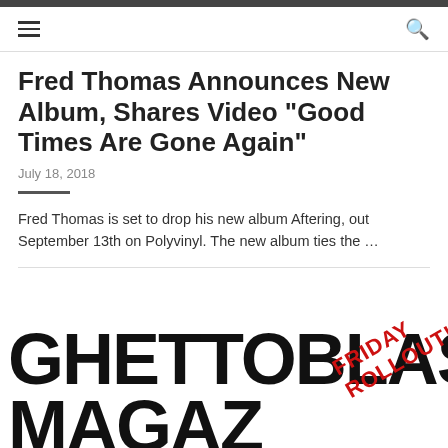navigation bar with hamburger menu and search icon
Fred Thomas Announces New Album, Shares Video "Good Times Are Gone Again"
July 18, 2018
Fred Thomas is set to drop his new album Aftering, out September 13th on Polyvinyl. The new album ties the …
[Figure (logo): Ghettoblaster Magazine logo with FRIDAY ROLLOUT! stamp overlay in red]